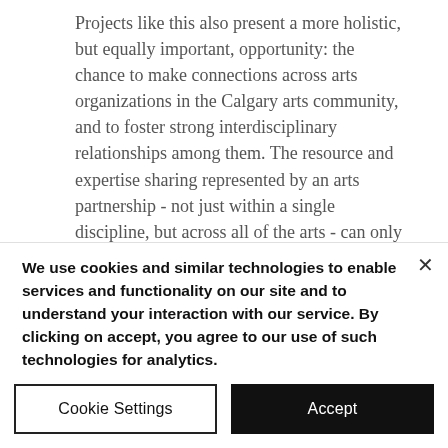Projects like this also present a more holistic, but equally important, opportunity: the chance to make connections across arts organizations in the Calgary arts community, and to foster strong interdisciplinary relationships among them. The resource and expertise sharing represented by an arts partnership - not just within a single discipline, but across all of the arts - can only improve the work of all the artists in a community.
We use cookies and similar technologies to enable services and functionality on our site and to understand your interaction with our service. By clicking on accept, you agree to our use of such technologies for analytics.